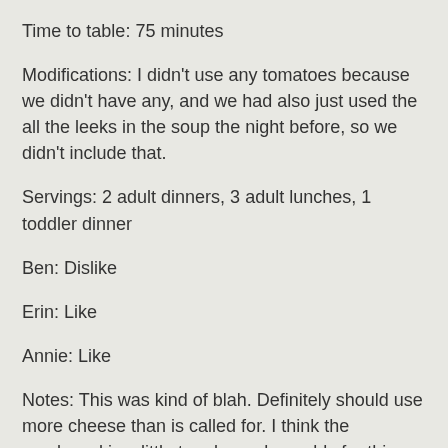Time to table: 75 minutes
Modifications: I didn't use any tomatoes because we didn't have any, and we had also just used the all the leeks in the soup the night before, so we didn't include that.
Servings: 2 adult dinners, 3 adult lunches, 1 toddler dinner
Ben: Dislike
Erin: Like
Annie: Like
Notes: This was kind of blah. Definitely should use more cheese than is called for. I think the cornbread is a little too dry and crumbly for this kind of dish, it would have been better with a fluffier dough I think